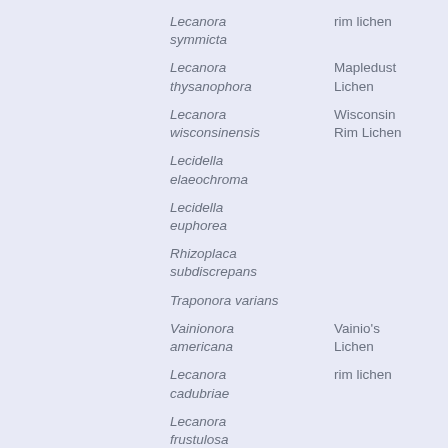| Scientific Name | Common Name |
| --- | --- |
| Lecanora symmicta | rim lichen |
| Lecanora thysanophora | Mapledust Lichen |
| Lecanora wisconsinensis | Wisconsin Rim Lichen |
| Lecidella elaeochroma |  |
| Lecidella euphorea |  |
| Rhizoplaca subdiscrepans |  |
| Traponora varians |  |
| Vainionora americana | Vainio's Lichen |
| Lecanora cadubriae | rim lichen |
| Lecanora frustulosa |  |
| Lecanora polytropa |  |